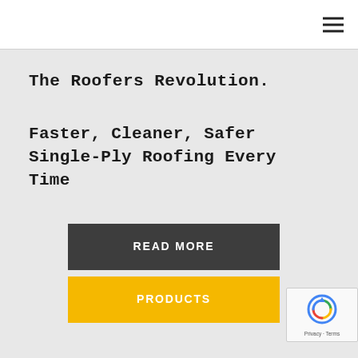≡
The Roofers Revolution.
Faster, Cleaner, Safer Single-Ply Roofing Every Time
READ MORE
PRODUCTS
[Figure (logo): reCAPTCHA badge with spinning arrow icon and Privacy - Terms text]